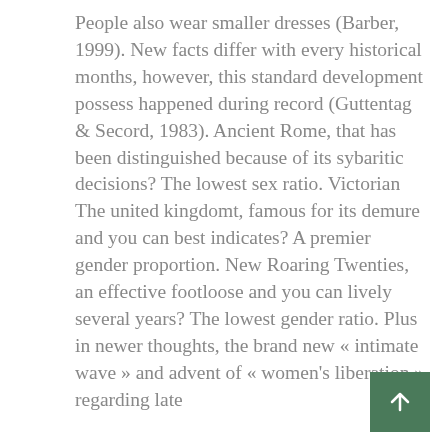People also wear smaller dresses (Barber, 1999). New facts differ with every historical months, however, this standard development possess happened during record (Guttentag & Secord, 1983). Ancient Rome, that has been distinguished because of its sybaritic decisions? The lowest sex ratio. Victorian The united kingdomt, famous for its demure and you can best indicates? A premier gender proportion. New Roaring Twenties, an effective footloose and you can lively several years? The lowest gender ratio. Plus in newer thoughts, the brand new « intimate wave » and advent of « women's liberation » regarding late
[Figure (other): Dark green square button with a white upward-pointing arrow (scroll to top button)]